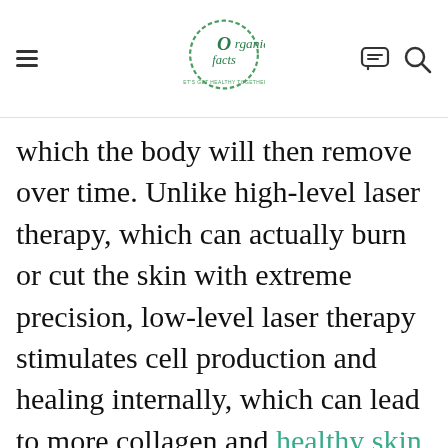Organic Facts — Let's Get Healthy Together
which the body will then remove over time. Unlike high-level laser therapy, which can actually burn or cut the skin with extreme precision, low-level laser therapy stimulates cell production and healing internally, which can lead to more collagen and healthy skin cells, relieving loose skin problems. [9]